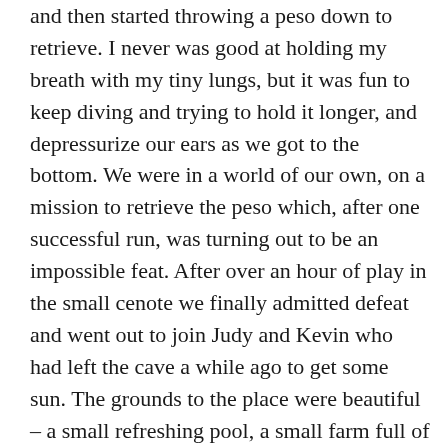and then started throwing a peso down to retrieve. I never was good at holding my breath with my tiny lungs, but it was fun to keep diving and trying to hold it longer, and depressurize our ears as we got to the bottom. We were in a world of our own, on a mission to retrieve the peso which, after one successful run, was turning out to be an impossible feat. After over an hour of play in the small cenote we finally admitted defeat and went out to join Judy and Kevin who had left the cave a while ago to get some sun. The grounds to the place were beautiful – a small refreshing pool, a small farm full of pigs and turkeys and chickens, a little restaurant, several areas for eating and a small orchard of orange trees. We took a little walk through the surrounding orange trees and found a hapless butterfly, unmoving, suspended seemingly in midair. It took me a moment to notice the fine gossamer holding the poor thing and I followed the